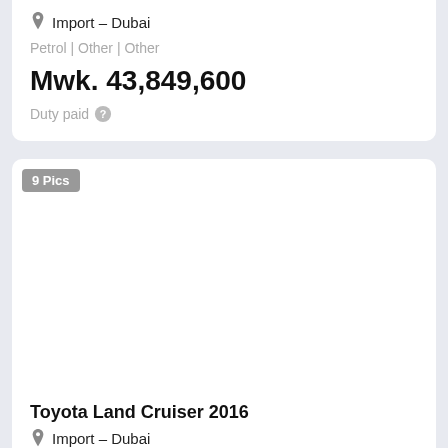Import – Dubai
Petrol | Other | Other
Mwk. 43,849,600
Duty paid
[Figure (photo): Car listing image area with '9 Pics' badge overlay]
Toyota Land Cruiser 2016
Import – Dubai